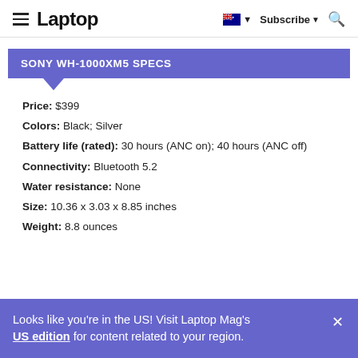Laptop — Subscribe — (search icon)
SONY WH-1000XM5 SPECS
Price: $399
Colors: Black; Silver
Battery life (rated): 30 hours (ANC on); 40 hours (ANC off)
Connectivity: Bluetooth 5.2
Water resistance: None
Size: 10.36 x 3.03 x 8.85 inches
Weight: 8.8 ounces
Looks like you're in the US! Visit Laptop Mag's US edition for content related to your region.